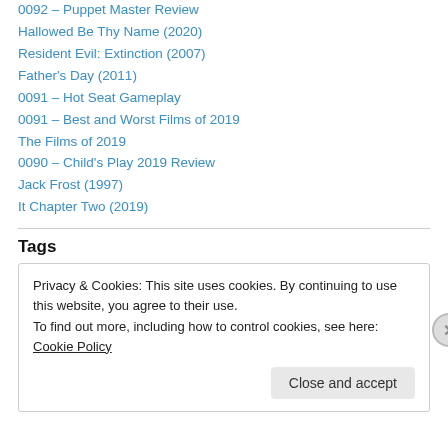0092 – Puppet Master Review
Hallowed Be Thy Name (2020)
Resident Evil: Extinction (2007)
Father's Day (2011)
0091 – Hot Seat Gameplay
0091 – Best and Worst Films of 2019
The Films of 2019
0090 – Child's Play 2019 Review
Jack Frost (1997)
It Chapter Two (2019)
Tags
Privacy & Cookies: This site uses cookies. By continuing to use this website, you agree to their use.
To find out more, including how to control cookies, see here: Cookie Policy
Close and accept